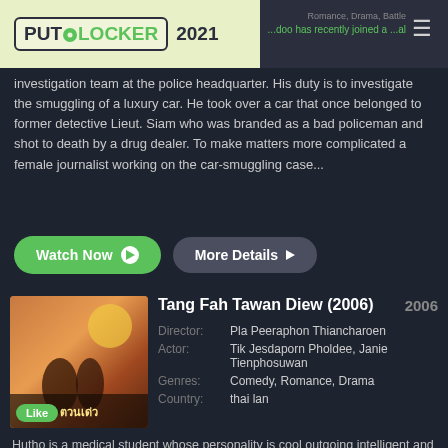PUTLOCKER 2021
investigation team at the police headquarter. His duty is to investigate the smuggling of a luxury car. He took over a car that once belonged to former detective Lieut. Siam who was branded as a bad policeman and shot to death by a drug dealer. To make matters more complicated a female journalist working on the car-smuggling case...
Watch Now | More Details
[Figure (photo): Movie thumbnail for Tang Fah Tawan Diew (2006) with Like badge]
Tang Fah Tawan Diew (2006)
| Field | Value |
| --- | --- |
| Director: | Pla Peeraphon Thiancharoen |
| Actor: | Tik Jesdaporn Pholdee, Janie Tienphosuwan |
| Genres: | Comedy, Romance, Drama |
| Country: | thai lan |
Hutho is a medical student whose personality is cool outgoing intelligent and funny. Lun is the daughter of a wealthy businessman but her dream is to be a photographer. While out doing a photoshoot at a pool hall Lun runs into Hutho who is in a fight with some hoodlums. Hutho ends up at the police station and is bailed out by his father. The next day at the university Hutho becomes the class...